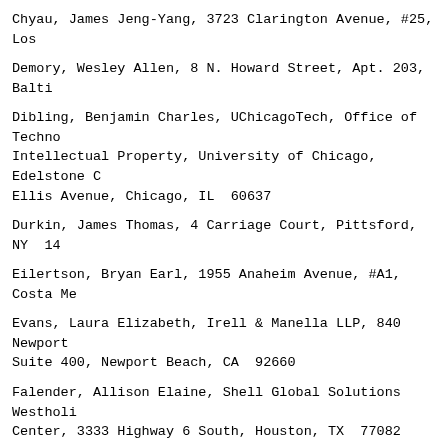Chyau, James Jeng-Yang, 3723 Clarington Avenue, #25, Los
Demory, Wesley Allen, 8 N. Howard Street, Apt. 203, Balti
Dibling, Benjamin Charles, UChicagoTech, Office of Techno Intellectual Property, University of Chicago, Edelstone C Ellis Avenue, Chicago, IL  60637
Durkin, James Thomas, 4 Carriage Court, Pittsford, NY  14
Eilertson, Bryan Earl, 1955 Anaheim Avenue, #A1, Costa Me
Evans, Laura Elizabeth, Irell & Manella LLP, 840 Newport Suite 400, Newport Beach, CA  92660
Falender, Allison Elaine, Shell Global Solutions Westholi Center, 3333 Highway 6 South, Houston, TX  77082
Fidler, Tiffany Aimee, Brooks Kushman P.C., 1000 Town Ce Southfield, MI  48075
Fitzsimmons, Jason Alan, 1200 North Veitch Street, Apartr Arlington, VA  22201
Foster, Eric Scott, 3758 Philnoll Drive, Cincinnati, OH
Fox, Ryan Christopher, Schwabe, Williamson & Wyatt, 1211 Suite 1900, Pacwest Center, Portland, OR  97204
Francis, Thomas Lee, 5445 Corporate Drive, Suite 200, Tr